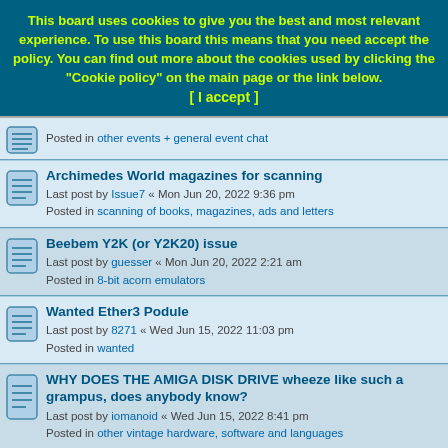This board uses cookies to give you the best and most relevant experience. To use this board this means that you need accept the policy. You can find out more about the cookies used by clicking the "Cookie policy" on the main page or the link below. [ I accept ]
Posted in other events + general event chat
Archimedes World magazines for scanning — Last post by Issue7 « Mon Jun 20, 2022 9:36 pm — Posted in scanning of books, magazines, ads and letters
Beebem Y2K (or Y2K20) issue — Last post by guesser « Mon Jun 20, 2022 2:21 am — Posted in 8-bit acorn emulators
Wanted Ether3 Podule — Last post by 8271 « Wed Jun 15, 2022 11:03 pm — Posted in wanted
WHY DOES THE AMIGA DISK DRIVE wheeze like such a grampus, does anybody know? — Last post by iomanoid « Wed Jun 15, 2022 8:41 pm — Posted in other vintage hardware, software and languages
Mitsubishi M5L27512K EPROMs — Last post by DaveBurke « Wed Jun 08, 2022 8:37 pm — Posted in for sale / freebies
BBC Micro B VideoULA wanted. — Last post by BBCwork123 « Wed Jun 08, 2022 4:04 pm — Posted in 8-bit acorn hardware